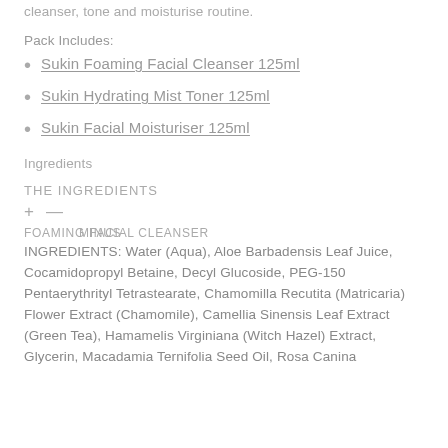cleanser, tone and moisturise routine.
Pack Includes:
Sukin Foaming Facial Cleanser 125ml
Sukin Hydrating Mist Toner 125ml
Sukin Facial Moisturiser 125ml
Ingredients
THE INGREDIENTS
+ —
FOAMING FACIAL CLEANSER
MINUS
INGREDIENTS: Water (Aqua), Aloe Barbadensis Leaf Juice, Cocamidopropyl Betaine, Decyl Glucoside, PEG-150 Pentaerythrityl Tetrastearate, Chamomilla Recutita (Matricaria) Flower Extract (Chamomile), Camellia Sinensis Leaf Extract (Green Tea), Hamamelis Virginiana (Witch Hazel) Extract, Glycerin, Macadamia Ternifolia Seed Oil, Rosa Canina